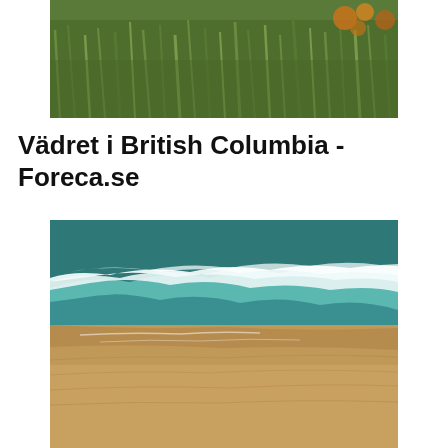[Figure (photo): Aerial or close-up photo of green grass with some yellow/orange flowers or foliage visible at the top right corner]
Vädret i British Columbia - Foreca.se
[Figure (photo): Aerial view of ocean waves washing onto a sandy beach, showing turquoise water with white foam and golden sand]